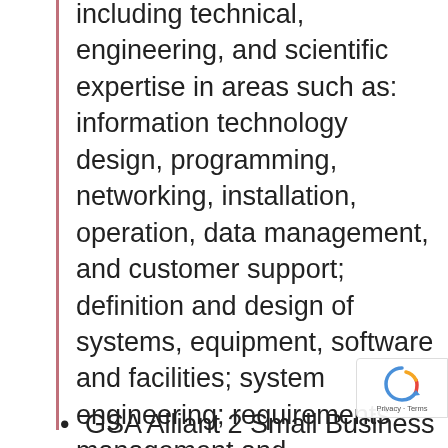including technical, engineering, and scientific expertise in areas such as: information technology design, programming, networking, installation, operation, data management, and customer support; definition and design of systems, equipment, software and facilities; system engineering; requirements management and specification development; information security; testing and operational evaluation; logistics support analysis; technical writing; and expertise and analysis on the effectiveness, efficiency, or economy of technical operations of equipment, systems, services, or procedures.
GSA Alliant 2 Small Business (A2SB)